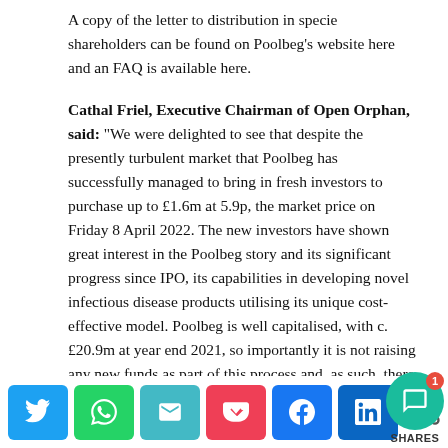A copy of the letter to distribution in specie shareholders can be found on Poolbeg's website here and an FAQ is available here.
Cathal Friel, Executive Chairman of Open Orphan, said: “We were delighted to see that despite the presently turbulent market that Poolbeg has successfully managed to bring in fresh investors to purchase up to £1.6m at 5.9p, the market price on Friday 8 April 2022. The new investors have shown great interest in the Poolbeg story and its significant progress since IPO, its capabilities in developing novel infectious disease products utilising its unique cost-effective model. Poolbeg is well capitalised, with c. £20.9m at year end 2021, so importantly it is not raising any new funds as part of this process and, as such, there will be no dilut…
[Figure (other): Social share bar with Twitter (blue), WhatsApp (green), Email (teal), Pocket (red), Facebook (blue), LinkedIn (dark blue) buttons, a share icon, and a teal chat bubble with notification badge showing '1' and SHARES label]